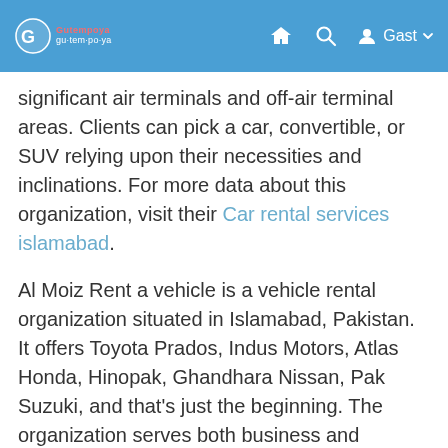Gutempoya - navigation bar with logo, home, search, and Gast menu
significant air terminals and off-air terminal areas. Clients can pick a car, convertible, or SUV relying upon their necessities and inclinations. For more data about this organization, visit their Car rental services islamabad.
Al Moiz Rent a vehicle is a vehicle rental organization situated in Islamabad, Pakistan. It offers Toyota Prados, Indus Motors, Atlas Honda, Hinopak, Ghandhara Nissan, Pak Suzuki, and that's just the beginning. The organization serves both business and relaxation explorers in the city. You can lease a vehicle from Al Moiz Rent a Prado in Islamabad and find the ideal vehicle for your movement Hiace grand cabin for rent.
In the event that you are arranging a work excursion in Islamabad, you might need to pick a Prado for lease in Islamabad as your vehicle of